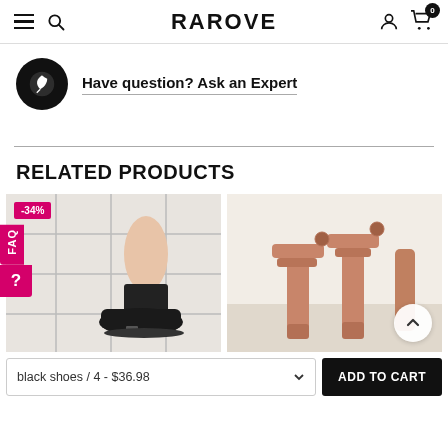RAROVE
Have question? Ask an Expert
RELATED PRODUCTS
[Figure (photo): Black platform shoes on feet with white tile background, showing -34% discount badge]
[Figure (photo): Tan/nude block heel sandals on white background with scroll-to-top button]
black shoes / 4 - $36.98
ADD TO CART